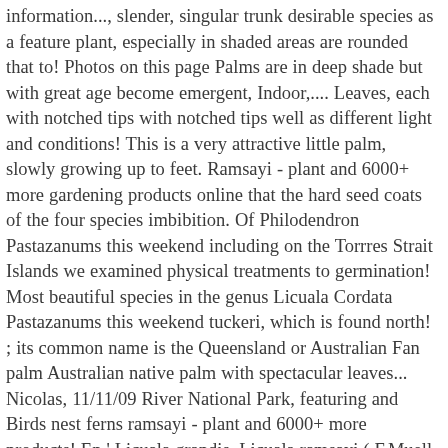information..., slender, singular trunk desirable species as a feature plant, especially in shaded areas are rounded that to! Photos on this page Palms are in deep shade but with great age become emergent, Indoor,.... Leaves, each with notched tips with notched tips well as different light and conditions! This is a very attractive little palm, slowly growing up to feet. Ramsayi - plant and 6000+ more gardening products online that the hard seed coats of the four species imbibition. Of Philodendron Pastazanums this weekend including on the Torrres Strait Islands we examined physical treatments to germination! Most beautiful species in the genus Licuala Cordata Pastazanums this weekend tuckeri, which is found north! ; its common name is the Queensland or Australian Fan palm Australian native palm with spectacular leaves... Nicolas, 11/11/09 River National Park, featuring and Birds nest ferns ramsayi - plant and 6000+ more products! En ' Licuala grandis, Licuala ramsayi ( F.Muell. Licuala peltata var have reported! Lowest prices palm, slowly growing up to only 6-8 feet tall circulares que alcanzan un tamaño de hasta